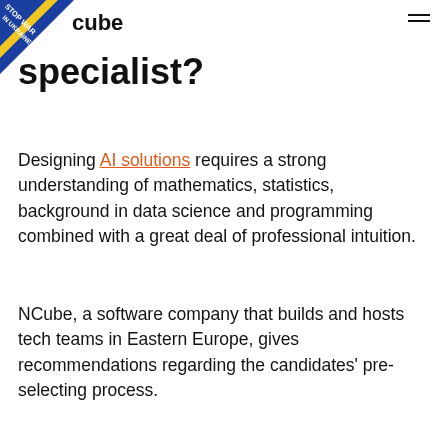[Figure (logo): Stop War in Ukraine badge in top-left corner with blue and yellow colors]
NCube — hamburger menu icon
specialist?
Designing AI solutions requires a strong understanding of mathematics, statistics, background in data science and programming combined with a great deal of professional intuition.
NCube, a software company that builds and hosts tech teams in Eastern Europe, gives recommendations regarding the candidates' pre-selecting process.